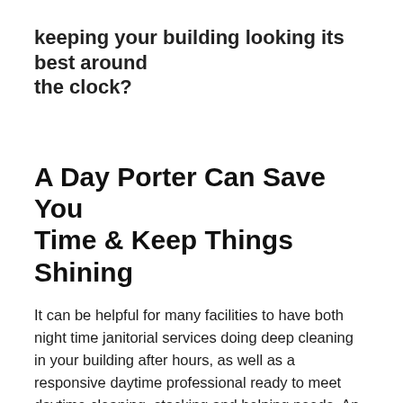keeping your building looking its best around the clock?
A Day Porter Can Save You Time & Keep Things Shining
It can be helpful for many facilities to have both night time janitorial services doing deep cleaning in your building after hours, as well as a responsive daytime professional ready to meet daytime cleaning, stocking and helping needs. An extra set of hands during business hours can keep your building looking great around the clock and running smoothly. If you are unfamiliar with a day porter, what are day porter duties? What does a